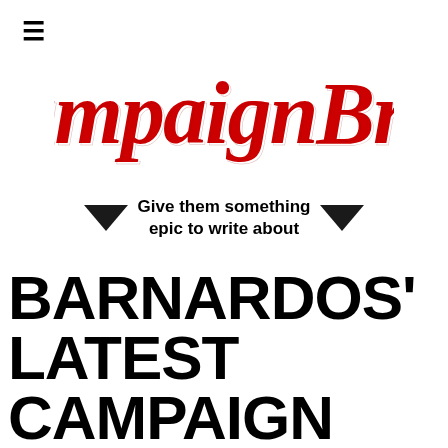[Figure (logo): Campaign Brief cursive red script logo]
Give them something epic to write about
BARNARDOS' LATEST CAMPAIGN SHOWS VICTIMS OF CHILD SEXUAL ABUSE HIDING IN